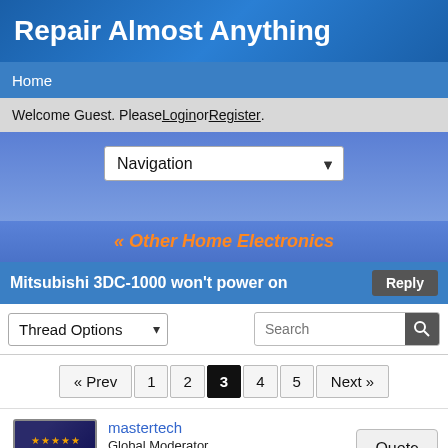Repair Almost Anything
Home
Welcome Guest. Please Login or Register.
Navigation
« Other Home Electronics
Mitsubishi 3DC-1000 won't power on
Thread Options
Search
« Prev  1  2  3  4  5  Next »
mastertech
Global Moderator
Feb 28, 2015 at 3:51am
Quote